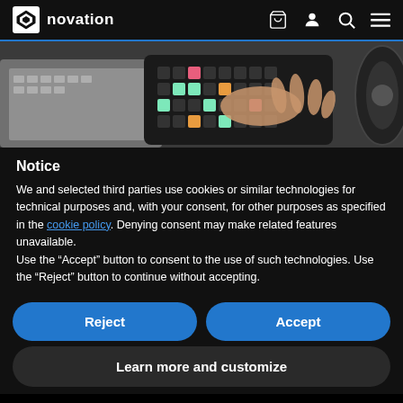novation
[Figure (photo): Hero image showing hands playing a Novation Launchpad MIDI controller on a dark desk, with a laptop keyboard visible on the left and headphones on the right.]
Notice
We and selected third parties use cookies or similar technologies for technical purposes and, with your consent, for other purposes as specified in the cookie policy. Denying consent may make related features unavailable.
Use the “Accept” button to consent to the use of such technologies. Use the “Reject” button to continue without accepting.
Reject
Accept
Learn more and customize